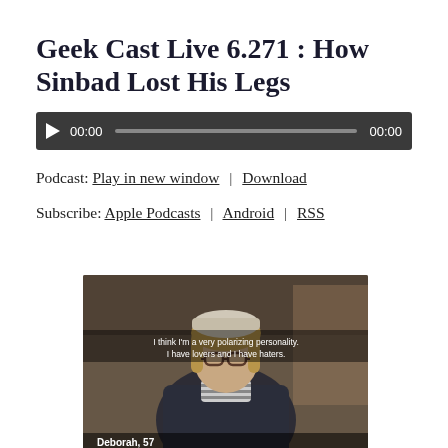Geek Cast Live 6.271 : How Sinbad Lost His Legs
[Figure (screenshot): Audio player widget with dark background, play button, time display showing 00:00, progress bar, and end time 00:00]
Podcast: Play in new window | Download
Subscribe: Apple Podcasts | Android | RSS
[Figure (photo): Video screenshot of a woman with glasses and shoulder-length hair wearing a denim jacket. Subtitle text reads 'I think I'm a very polarizing personality. I have lovers and I have haters.' Lower caption shows 'Deborah, 57' and partially visible text below.]